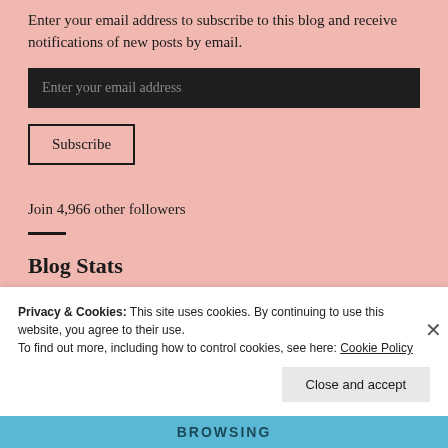Enter your email address to subscribe to this blog and receive notifications of new posts by email.
[Figure (screenshot): Dark email input field with placeholder text 'Enter your email address']
[Figure (screenshot): Subscribe button with black border]
Join 4,966 other followers
Blog Stats
Privacy & Cookies: This site uses cookies. By continuing to use this website, you agree to their use.
To find out more, including how to control cookies, see here: Cookie Policy
[Figure (screenshot): Close and accept button at bottom of cookie banner]